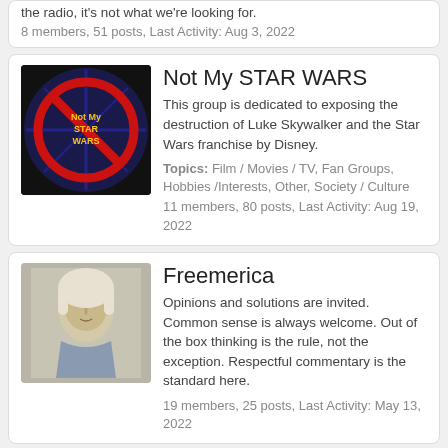the radio, it's not what we're looking for.
8 members, 51 posts, Last Activity: Aug 3, 2022
Not My STAR WARS
This group is dedicated to exposing the destruction of Luke Skywalker and the Star Wars franchise by Disney.
Topics: Film / Movies / TV, Fan Groups, Hobbies /Interests, Other, Society / Culture
11 members, 80 posts, Last Activity: Aug 19, 2022
Freemerica
Opinions and solutions are invited. Common sense is always welcome. Out of the box thinking is the rule, not the exception. Respectful commentary is the standard here.
19 members, 25 posts, Last Activity: May 13, 2022
Anthony Brian Logan Fans
Political and social commentary.
14 members, 226 posts, Last Activity: Aug 19, 2022
Truth of homelessness, we survived
True causes of homelessness, and how we survived a year and a half living on the streets of orange county, ca. What